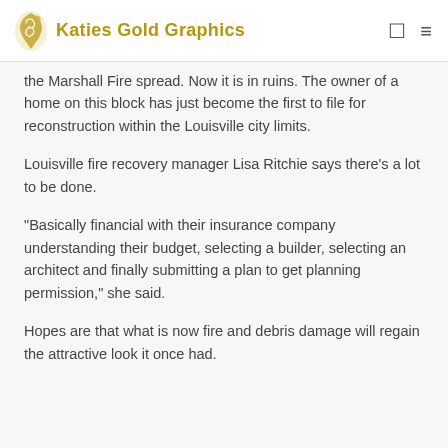Katies Gold Graphics
the Marshall Fire spread. Now it is in ruins. The owner of a home on this block has just become the first to file for reconstruction within the Louisville city limits.
Louisville fire recovery manager Lisa Ritchie says there’s a lot to be done.
“Basically financial with their insurance company understanding their budget, selecting a builder, selecting an architect and finally submitting a plan to get planning permission,” she said.
Hopes are that what is now fire and debris damage will regain the attractive look it once had.